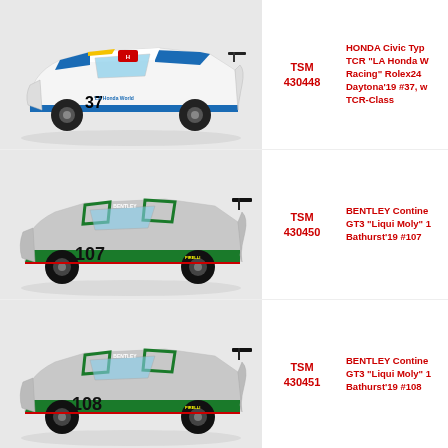[Figure (photo): Honda Civic Type R TCR race car model, white/blue livery, number 37, LA Honda World Racing]
TSM 430448
HONDA Civic Type R TCR "LA Honda W Racing" Rolex24 Daytona'19 #37, w TCR-Class
[Figure (photo): Bentley Continental GT3 race car model, silver/green Liqui Moly livery, number 107, Bathurst 2019]
TSM 430450
BENTLEY Continental GT3 "Liqui Moly" 1 Bathurst'19 #107
[Figure (photo): Bentley Continental GT3 race car model, silver/green Liqui Moly livery, number 108, Bathurst 2019]
TSM 430451
BENTLEY Continental GT3 "Liqui Moly" 1 Bathurst'19 #108